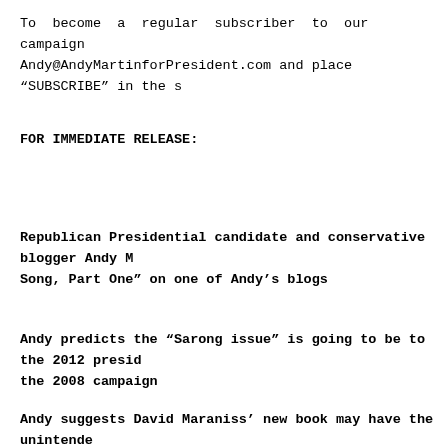To become a regular subscriber to our campaign Andy@AndyMartinforPresident.com and place “SUBSCRIBE” in the s
FOR IMMEDIATE RELEASE:
Republican Presidential candidate and conservative blogger Andy M Song, Part One” on one of Andy’s blogs
Andy predicts the “Sarong issue” is going to be to the 2012 preside the 2008 campaign
Andy suggests David Maraniss’ new book may have the unintende published to about Barack Obama’s “innocen K”...